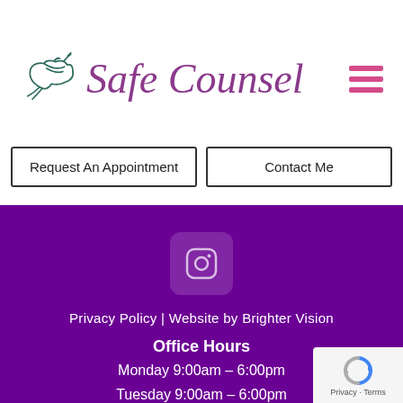Safe Counsel
Request An Appointment
Contact Me
[Figure (logo): Instagram icon in white rounded square]
Privacy Policy | Website by Brighter Vision
Office Hours
Monday 9:00am – 6:00pm
Tuesday 9:00am – 6:00pm
Wednesday 9:00am-6:00pm
[Figure (logo): reCAPTCHA badge with Privacy and Terms text]